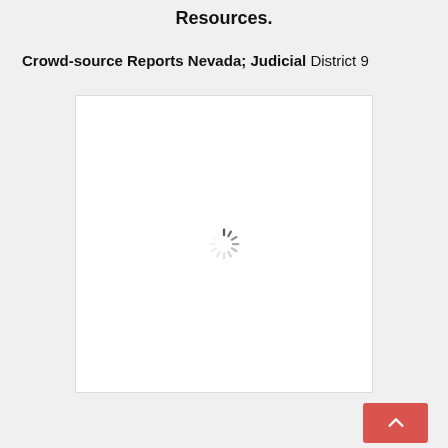Resources.
Crowd-source Reports Nevada; Judicial District 9
[Figure (screenshot): White content loading box with a spinning loader icon in the center, indicating content is being loaded.]
[Figure (other): Back-to-top button: pink/red rounded rectangle with an upward-pointing chevron arrow icon.]